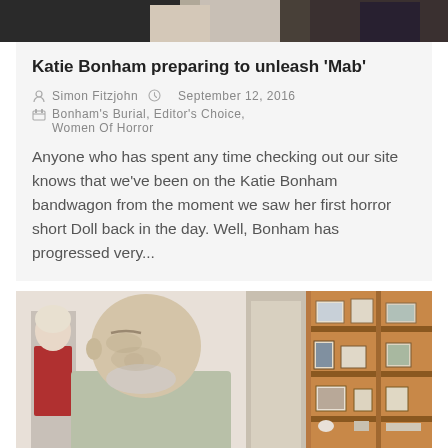[Figure (photo): Top cropped photo showing two people, partially visible, dark background]
Katie Bonham preparing to unleash 'Mab'
Simon Fitzjohn   September 12, 2016
Bonham's Burial, Editor's Choice, Women Of Horror
Anyone who has spent any time checking out our site knows that we've been on the Katie Bonham bandwagon from the moment we saw her first horror short Doll back in the day. Well, Bonham has progressed very...
[Figure (photo): Photo of a bald older man with grey beard looking downward, with a woman in red visible in background left, and a wooden bookshelf with framed photos on the right]